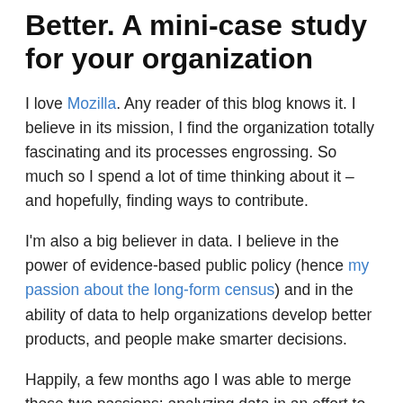Better. A mini-case study for your organization
I love Mozilla. Any reader of this blog knows it. I believe in its mission, I find the organization totally fascinating and its processes engrossing. So much so I spend a lot of time thinking about it – and hopefully, finding ways to contribute.
I'm also a big believer in data. I believe in the power of evidence-based public policy (hence my passion about the long-form census) and in the ability of data to help organizations develop better products, and people make smarter decisions.
Happily, a few months ago I was able to merge these two passions: analyzing data in an effort to help Mozilla products and boost its revenue. Firefox li... for Bet...